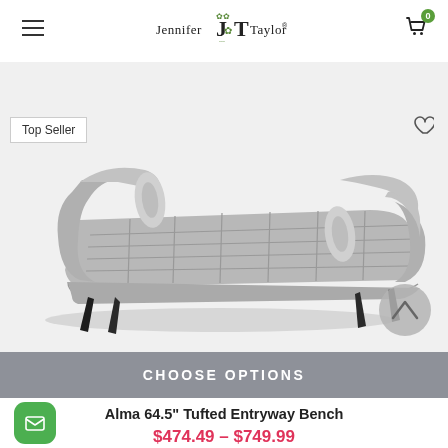Jennifer JT Taylor — navigation header with hamburger menu and cart (0 items)
[Figure (photo): Gray tufted entryway bench with rolled arms and two cylindrical bolster pillows, dark tapered wooden legs, on white background. 'Top Seller' badge on upper left. Wishlist heart icon top right. Scroll-up arrow button lower right.]
CHOOSE OPTIONS
Alma 64.5" Tufted Entryway Bench
$474.49 – $749.99
★★★★★
(282 reviews)